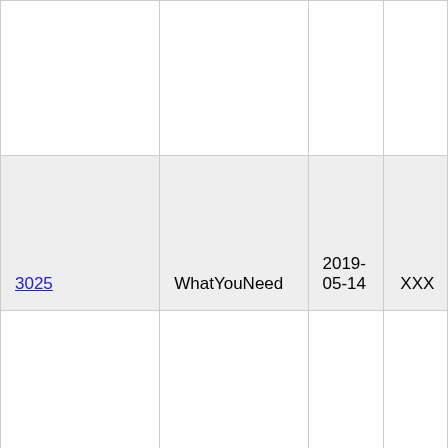|  |  |  |  |
| 3025 | WhatYouNeed | 2019-05-14 | XXX |
| Slave Maker 3 | cmacleod42 | 2019-05-07 | XXX |